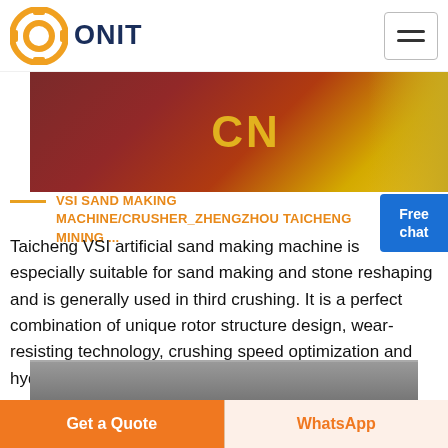[Figure (logo): ONIT logo with orange circular gear/ring icon and dark blue bold ONIT text]
[Figure (photo): Mining/crusher machinery photo with CN text in yellow on red/brown equipment]
VSI SAND MAKING MACHINE/CRUSHER_ZHENGZHOU TAICHENG MINING ...
Taicheng VSI artificial sand making machine is especially suitable for sand making and stone reshaping and is generally used in third crushing. It is a perfect combination of unique rotor structure design, wear-resisting technology, crushing speed optimization and hydraulic design.
[Figure (photo): Partial view of mining machinery at bottom of page]
Get a Quote | WhatsApp